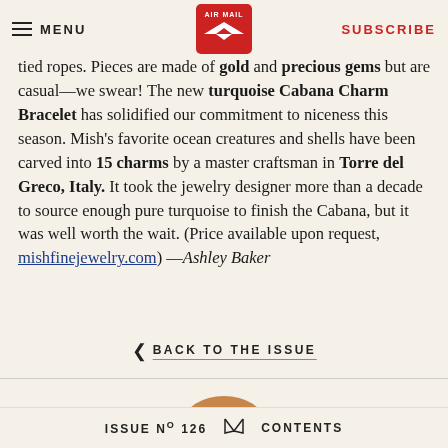MENU | AIR MAIL | SUBSCRIBE
tied ropes. Pieces are made of gold and precious gems but are casual—we swear! The new turquoise Cabana Charm Bracelet has solidified our commitment to niceness this season. Mish's favorite ocean creatures and shells have been carved into 15 charms by a master craftsman in Torre del Greco, Italy. It took the jewelry designer more than a decade to source enough pure turquoise to finish the Cabana, but it was well worth the wait. (Price available upon request, mishfinejewelry.com) —Ashley Baker
BACK TO THE ISSUE
ISSUE Nº 126  CONTENTS